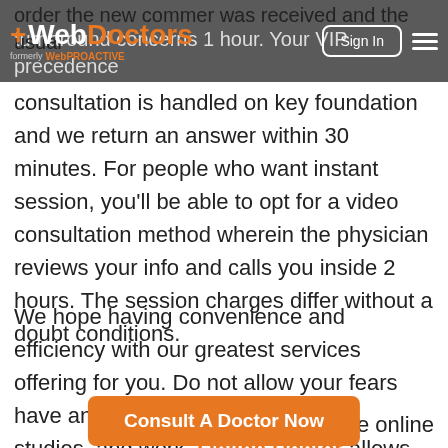+WebDoctors formerly WebPROACTIVE — Sign In
order the new commer was received and the usual turnaround concerns 1 hour. Your VIP precedence consultation is handled on key foundation and we return an answer within 30 minutes. For people who want instant session, you'll be able to opt for a video consultation method wherein the physician reviews your info and calls you inside 2 hours. The session charges differ without a doubt conditions.
We hope having convenience and efficiency with our greatest services offering for you. Do not allow your fears have an effect on your daily routine, studies, and work. Online Doctor allows your subject to read nothing in lesser time. You too ca… achieve online
[Figure (other): Orange call-to-action button labeled 'Consult A Doctor Now']